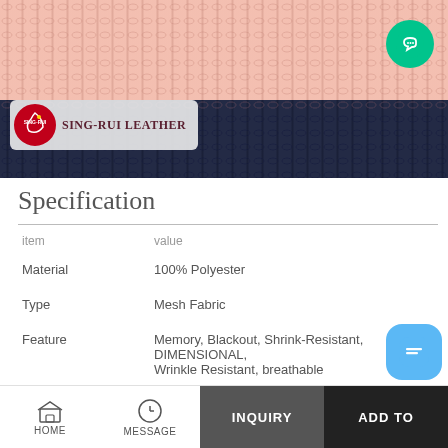[Figure (photo): Stacked layers of pink and navy mesh/knit fabric with Sing-Rui Leather logo overlay and green headset customer service button]
Specification
| item | value |
| --- | --- |
| Material | 100% Polyester |
| Type | Mesh Fabric |
| Feature | Memory, Blackout, Shrink-Resistant, DIMENSIONAL, Wrinkle Resistant, breathable |